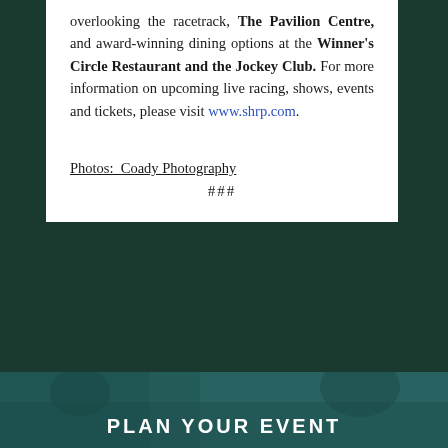overlooking the racetrack, The Pavilion Centre, and award-winning dining options at the Winner's Circle Restaurant and the Jockey Club. For more information on upcoming live racing, shows, events and tickets, please visit www.shrp.com.
Photos:  Coady Photography
###
[Figure (photo): Teal-tinted photo of people (children/attendees) at an event, overlaid with bold white text 'PLAN YOUR EVENT']